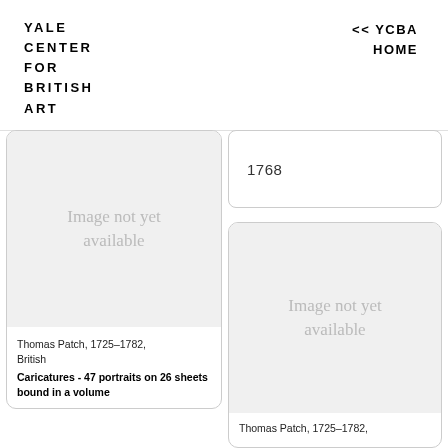YALE CENTER FOR BRITISH ART
<< YCBA HOME
1768
[Figure (illustration): Image not yet available placeholder for artwork]
Thomas Patch, 1725–1782, British
Caricatures - 47 portraits on 26 sheets bound in a volume
[Figure (illustration): Image not yet available placeholder for artwork]
Thomas Patch, 1725–1782,